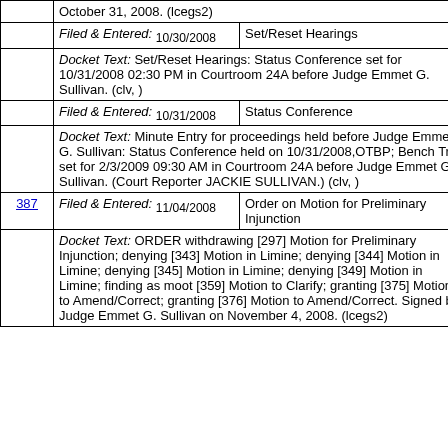| # | Filed & Entered / Date | Type / Docket Text |
| --- | --- | --- |
|  | October 31, 2008. (lcegs2) |  |
|  | Filed & Entered: 10/30/2008 | Set/Reset Hearings |
|  | Docket Text: Set/Reset Hearings: Status Conference set for 10/31/2008 02:30 PM in Courtroom 24A before Judge Emmet G. Sullivan. (clv, ) |  |
|  | Filed & Entered: 10/31/2008 | Status Conference |
|  | Docket Text: Minute Entry for proceedings held before Judge Emmet G. Sullivan: Status Conference held on 10/31/2008,OTBP; Bench Trial set for 2/3/2009 09:30 AM in Courtroom 24A before Judge Emmet G. Sullivan. (Court Reporter JACKIE SULLIVAN.) (clv, ) |  |
| 387 | Filed & Entered: 11/04/2008 | Order on Motion for Preliminary Injunction |
|  | Docket Text: ORDER withdrawing [297] Motion for Preliminary Injunction; denying [343] Motion in Limine; denying [344] Motion in Limine; denying [345] Motion in Limine; denying [349] Motion in Limine; finding as moot [359] Motion to Clarify; granting [375] Motion to Amend/Correct; granting [376] Motion to Amend/Correct. Signed by Judge Emmet G. Sullivan on November 4, 2008. (lcegs2) |  |